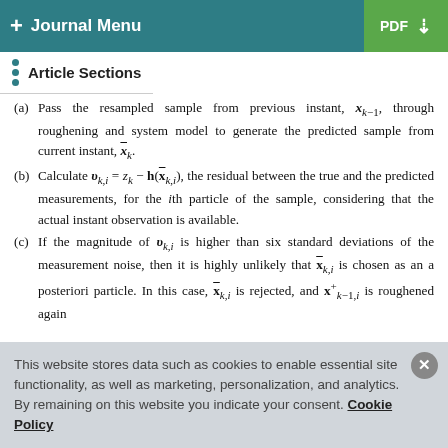+ Journal Menu | PDF [download]
Article Sections
(a) Pass the resampled sample from previous instant, x_{k-1}, through roughening and system model to generate the predicted sample from current instant, x_k^-.
(b) Calculate v_{k,i} = z_k - h(x_{k,i}^-), the residual between the true and the predicted measurements, for the ith particle of the sample, considering that the actual instant observation is available.
(c) If the magnitude of v_{k,i} is higher than six standard deviations of the measurement noise, then it is highly unlikely that x_{k,i}^- is chosen as an a posteriori particle. In this case, x_{k,i}^- is rejected, and x_{k-1,i}^+ is roughened again
This website stores data such as cookies to enable essential site functionality, as well as marketing, personalization, and analytics. By remaining on this website you indicate your consent. Cookie Policy